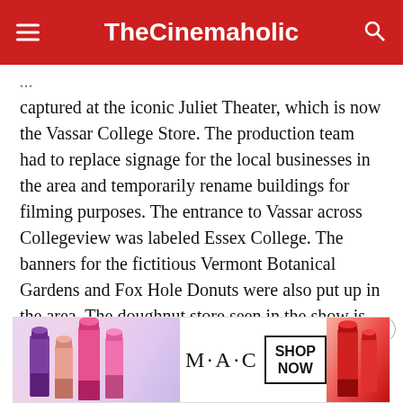TheCinemaholic
...captured at the iconic Juliet Theater, which is now the Vassar College Store. The production team had to replace signage for the local businesses in the area and temporarily rename buildings for filming purposes. The entrance to Vassar across Collegeview was labeled Essex College. The banners for the fictitious Vermont Botanical Gardens and Fox Hole Donuts were also put up in the area. The doughnut store seen in the show is
actually the All Shook Up Cafe & Juice Bar on 44 Ra...
[Figure (photo): MAC cosmetics advertisement banner showing colorful lipsticks with MAC logo and SHOP NOW button]